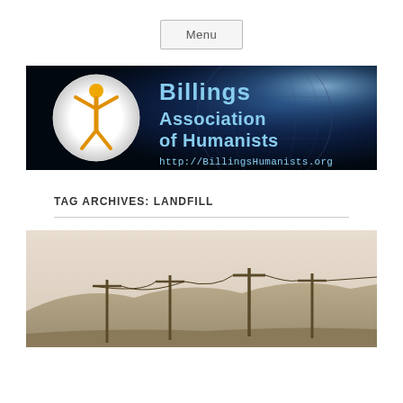Menu
[Figure (logo): Billings Association of Humanists banner with logo showing a golden humanist figure on white circle background, dark cosmic globe background with blue light rays. Text: 'Billings Association of Humanists http://BillingsHumanists.org']
TAG ARCHIVES: LANDFILL
[Figure (photo): Sepia-toned landscape photograph showing low rolling hills with utility/telephone poles and power lines in the foreground, pale sky background]